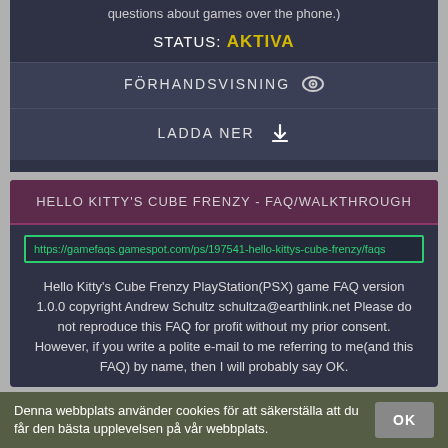questions about games over the phone.)
STATUS: AKTIVA
FÖRHANDSVISNING
LADDA NER
HELLO KITTY'S CUBE FRENZY - FAQ/WALKTHROUGH
https://gamefaqs.gamespot.com/ps/197541-hello-kittys-cube-frenzy/faqs
Hello Kitty's Cube Frenzy PlayStation(PSX) game FAQ version 1.0.0 copyright Andrew Schultz schultza@earthlink.net Please do not reproduce this FAQ for profit without my prior consent. However, if you write a polite e-mail to me referring to me(and this FAQ) by name, then I will probably say OK.
Denna webbplats använder cookies för att säkerställa att du får den bästa upplevelsen på vår webbplats.